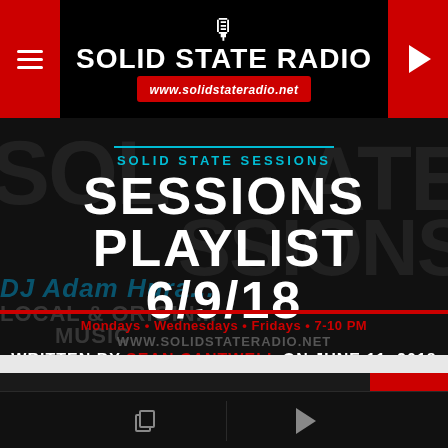SOLID STATE RADIO — www.solidstateradio.net
[Figure (screenshot): Background graphic with large bold text SOL... STATE... DJ Adam Hura... LOCAL & ORIGINAL MUSIC in dark overlay style]
SOLID STATE SESSIONS
SESSIONS PLAYLIST 6/9/18
WRITTEN BY SEAN CANTWELL ON JUNE 11, 2018